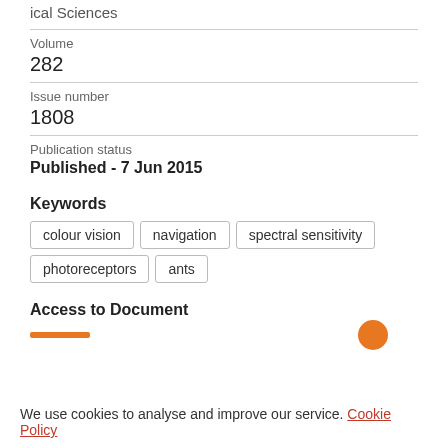ical Sciences
Volume
282
Issue number
1808
Publication status
Published - 7 Jun 2015
Keywords
colour vision
navigation
spectral sensitivity
photoreceptors
ants
Access to Document
We use cookies to analyse and improve our service. Cookie Policy